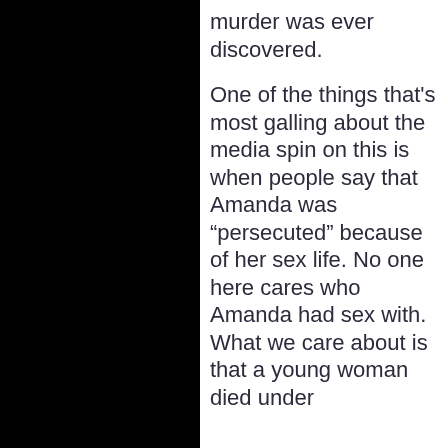murder was ever discovered.

One of the things that's most galling about the media spin on this is when people say that Amanda was “persecuted” because of her sex life. No one here cares who Amanda had sex with. What we care about is that a young woman died under